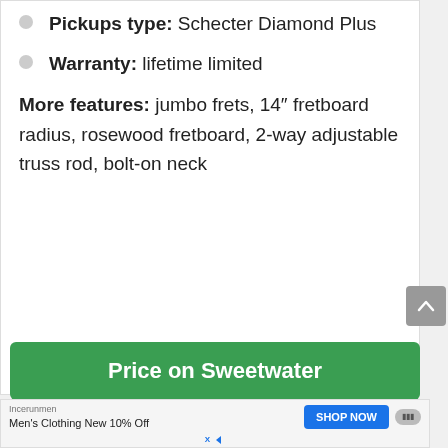Pickups type: Schecter Diamond Plus
Warranty: lifetime limited
More features: jumbo frets, 14″ fretboard radius, rosewood fretboard, 2-way adjustable truss rod, bolt-on neck
Price on Sweetwater
Incerunmen Men's Clothing New 10% Off SHOP NOW